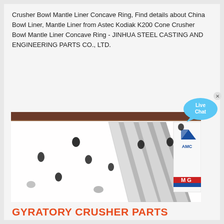Crusher Bowl Mantle Liner Concave Ring, Find details about China Bowl Liner, Mantle Liner from Astec Kodiak K200 Cone Crusher Bowl Mantle Liner Concave Ring - JINHUA STEEL CASTING AND ENGINEERING PARTS CO., LTD.
[Figure (photo): Close-up photo of a white Astec Kodiak cone crusher bowl/mantle liner part showing segmented fins with black wear spots and an AMC logo visible on the right side.]
GYRATORY CRUSHER PARTS